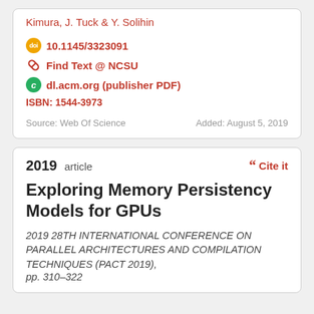Kimura, J. Tuck & Y. Solihin
10.1145/3323091
Find Text @ NCSU
dl.acm.org (publisher PDF)
ISBN: 1544-3973
Source: Web Of Science
Added: August 5, 2019
2019 article
Cite it
Exploring Memory Persistency Models for GPUs
2019 28TH INTERNATIONAL CONFERENCE ON PARALLEL ARCHITECTURES AND COMPILATION TECHNIQUES (PACT 2019), pp. 310–322